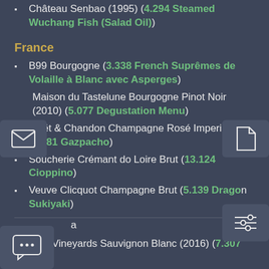Château Senbao (1995) (4.294 Steamed Wuchang Fish (Salad Oil))
France
B99 Bourgogne (3.338 French Suprêmes de Volaille à Blanc avec Asperges)
Maison du Tastelune Bourgogne Pinot Noir (2010) (5.077 Degustation Menu)
Moët & Chandon Champagne Rosé Imperial (5.081 Gazpacho)
Soucherie Crémant do Loire Brut (13.124 Cioppino)
Veuve Clicquot Champagne Brut (5.139 Dragon Sukiyaki)
a
Sula Vineyards Sauvignon Blanc (2016) (7.307